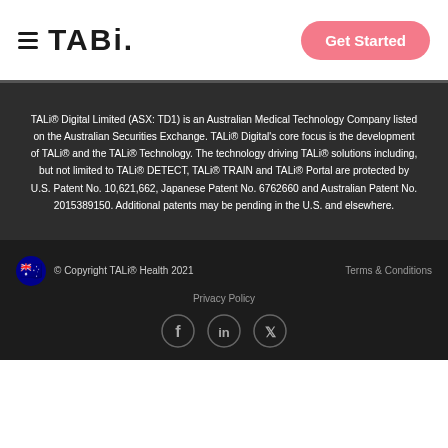TALi. Get Started
TALi® Digital Limited (ASX: TD1) is an Australian Medical Technology Company listed on the Australian Securities Exchange. TALi® Digital's core focus is the development of TALi® and the TALi® Technology. The technology driving TALi® solutions including, but not limited to TALi® DETECT, TALi® TRAIN and TALi® Portal are protected by U.S. Patent No. 10,621,662, Japanese Patent No. 6762660 and Australian Patent No. 2015389150. Additional patents may be pending in the U.S. and elsewhere.
© Copyright TALi® Health 2021   Terms & Conditions   Privacy Policy